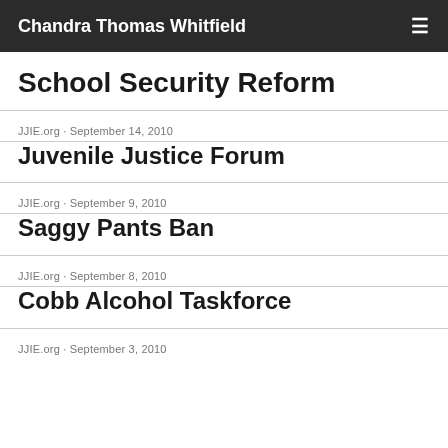Chandra Thomas Whitfield
School Security Reform
JJIE.org · September 14, 2010
Juvenile Justice Forum
JJIE.org · September 9, 2010
Saggy Pants Ban
JJIE.org · September 8, 2010
Cobb Alcohol Taskforce
JJIE.org · September 3, 2010